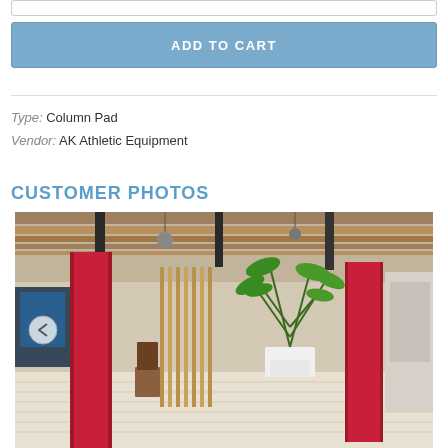[Figure (other): Add to Cart button - a blue rectangular button with white bold uppercase text 'ADD TO CART']
Type: Column Pad
Vendor: AK Athletic Equipment
CUSTOMER PHOTOS
[Figure (photo): Interior office space showing red column pads wrapped around structural columns, with wooden slat dividers, tropical plants in white planters, and an open office layout with pendant lighting and wooden ceiling beams.]